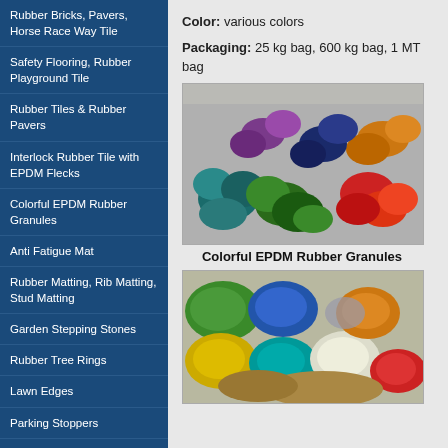Rubber Bricks, Pavers, Horse Race Way Tile
Safety Flooring, Rubber Playground Tile
Rubber Tiles & Rubber Pavers
Interlock Rubber Tile with EPDM Flecks
Colorful EPDM Rubber Granules
Anti Fatigue Mat
Rubber Matting, Rib Matting, Stud Matting
Garden Stepping Stones
Rubber Tree Rings
Lawn Edges
Parking Stoppers
Sports Floor Tables
Color: various colors
Packaging: 25 kg bag, 600 kg bag, 1 MT bag
[Figure (photo): Colorful EPDM rubber granules in various colors including blue, green, red, orange, purple chunks piled together]
Colorful EPDM Rubber Granules
[Figure (photo): Colorful EPDM rubber granules in fine granule form showing multiple colored piles: green, blue, yellow, teal, white, red, orange]